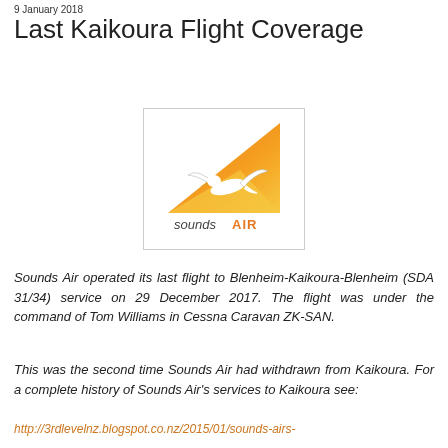9 January 2018
Last Kaikoura Flight Coverage
[Figure (logo): Sounds Air logo: orange and yellow triangle with a white bird/seagull silhouette and the text 'sounds AIR' below]
Sounds Air operated its last flight to Blenheim-Kaikoura-Blenheim (SDA 31/34) service on 29 December 2017. The flight was under the command of Tom Williams in Cessna Caravan ZK-SAN.
This was the second time Sounds Air had withdrawn from Kaikoura. For a complete history of Sounds Air's services to Kaikoura see:
http://3rdlevelnz.blogspot.co.nz/2015/01/sounds-airs-